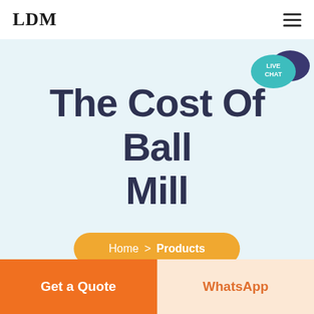LDM
The Cost Of Ball Mill
Home > Products
Get a Quote
WhatsApp